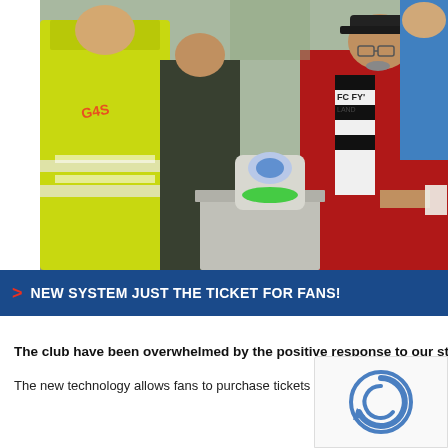[Figure (photo): A security guard in a yellow high-visibility jacket stands next to a man in a red jacket wearing a black and white FC FY scarf, at a stadium turnstile with an electronic ticketing reader device on top. Other people are visible in the background.]
> NEW SYSTEM JUST THE TICKET FOR FANS!
The club have been overwhelmed by the positive response to our st... from supporters.
The new technology allows fans to purchase tickets online pr... step by the club, away supporters can also purchase tickets o...